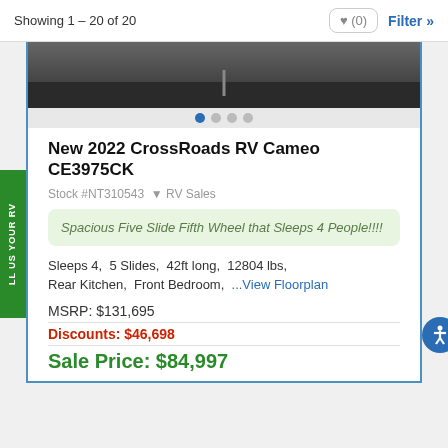Showing 1 - 20 of 20
[Figure (photo): Partial photo of an RV exterior, dark background with hitch visible]
New 2022 CrossRoads RV Cameo CE3975CK
Stock #NT310543 ▾ RV Sales
Spacious Five Slide Fifth Wheel that Sleeps 4 People!!!!
Sleeps 4, 5 Slides, 42ft long, 12804 lbs, Rear Kitchen, Front Bedroom, ...View Floorplan
MSRP: $131,695
Discounts: $46,698
Sale Price: $84,997